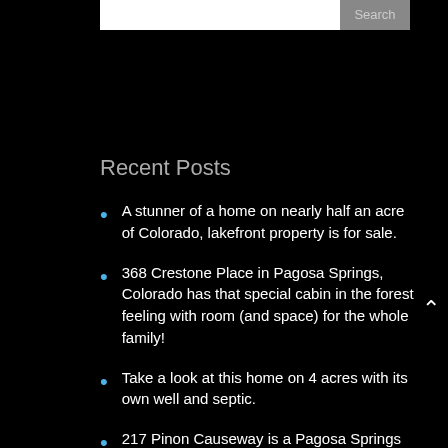Search
Recent Posts
A stunner of a home on nearly half an acre of Colorado, lakefront property is for sale.
368 Crestone Place in Pagosa Springs, Colorado has that special cabin in the forest feeling with room (and space) for the whole family!
Take a look at this home on 4 acres with its own well and septic.
217 Pinon Causeway is a Pagosa Springs Single Story Condo for Sale Within Walking Distance of So Many Amenities!
Amazing Mountain & Lake Views! 914 Cloud Cap…